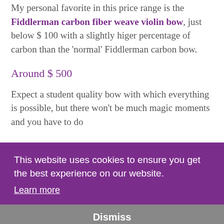My personal favorite in this price range is the Fiddlerman carbon fiber weave violin bow, just below $ 100 with a slightly higer percentage of carbon than the 'normal' Fiddlerman carbon bow.
Around $ 500
Expect a student quality bow with which everything is possible, but there won't be much magic moments and you have to do everything yourself. This can be a great solution... In wooden bows you can get a basic pernambuco bow for around this price, for example made in Brazil. As wooden bows differ very much, also if they are from the same maker, always try a few.
This website uses cookies to ensure you get the best experience on our website. Learn more
Dismiss